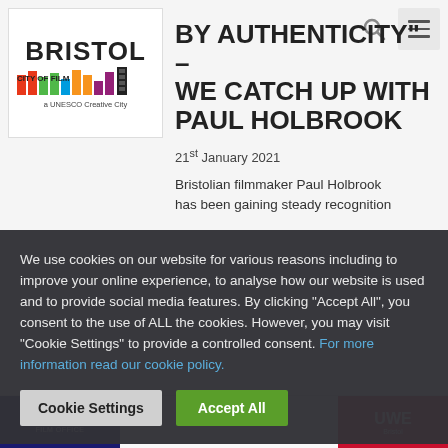[Figure (logo): Bristol City of Film - a UNESCO Creative City logo]
BY AUTHENTICITY" – WE CATCH UP WITH PAUL HOLBROOK
21st January 2021
Bristolian filmmaker Paul Holbrook has been gaining steady recognition
We use cookies on our website for various reasons including to improve your online experience, to analyse how our website is used and to provide social media features. By clicking "Accept All", you consent to the use of ALL the cookies. However, you may visit "Cookie Settings" to provide a controlled consent. For more information read our cookie policy.
Cookie Settings | Accept All
[Figure (logo): Bristol Film Office logo and UWE Bristol logo at bottom strip]